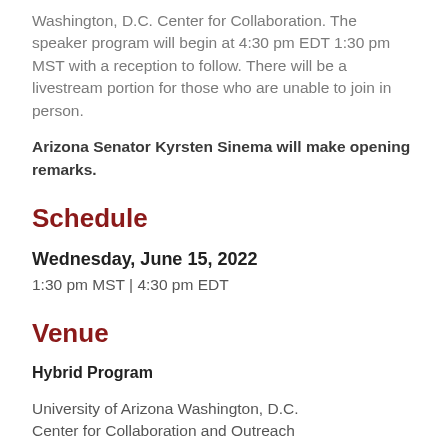Washington, D.C. Center for Collaboration. The speaker program will begin at 4:30 pm EDT 1:30 pm MST with a reception to follow. There will be a livestream portion for those who are unable to join in person.
Arizona Senator Kyrsten Sinema will make opening remarks.
Schedule
Wednesday, June 15, 2022
1:30 pm MST | 4:30 pm EDT
Venue
Hybrid Program
University of Arizona Washington, D.C.
Center for Collaboration and Outreach